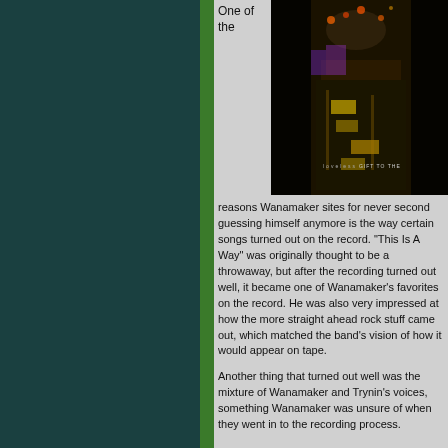[Figure (photo): Album cover for 'loveless - GIFT TO THE...' showing an aerial night view of a street with cars and lights]
One of the
reasons Wanamaker sites for never second guessing himself anymore is the way certain songs turned out on the record. "This Is A Way" was originally thought to be a throwaway, but after the recording turned out well, it became one of Wanamaker's favorites on the record. He was also very impressed at how the more straight ahead rock stuff came out, which matched the band's vision of how it would appear on tape.

Another thing that turned out well was the mixture of Wanamaker and Trynin's voices, something Wanamaker was unsure of when they went in to the recording process.